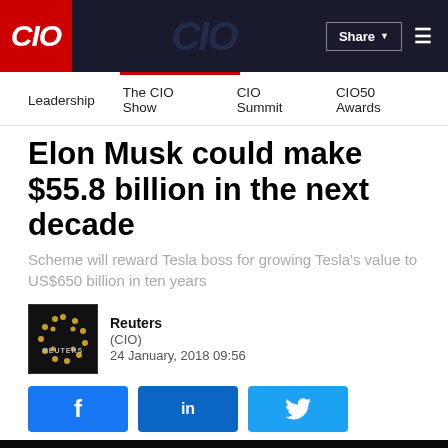CIO | Leadership | The CIO Show | CIO Summit | CIO50 Awards
Elon Musk could make $55.8 billion in the next decade
Scheme will reward Tesla boss for growing Tesla's value to US$650 billion in ten years
Reuters (CIO)
24 January, 2018 09:56
[Figure (screenshot): Reuters logo thumbnail - dark background with circular dot pattern]
[Figure (photo): Photo of Elon Musk speaking on stage against a dark background]